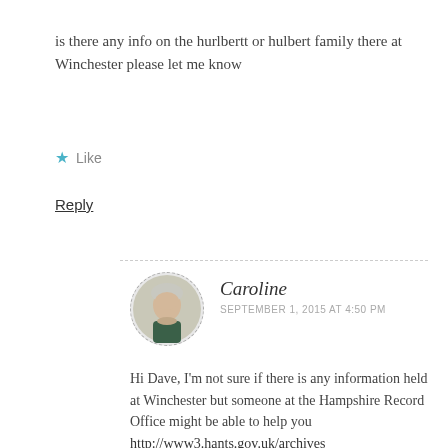is there any info on the hurlbertt or hulbert family there at Winchester please let me know
★ Like
Reply
Caroline
SEPTEMBER 1, 2015 AT 4:50 PM
Hi Dave, I'm not sure if there is any information held at Winchester but someone at the Hampshire Record Office might be able to help you http://www3.hants.gov.uk/archives